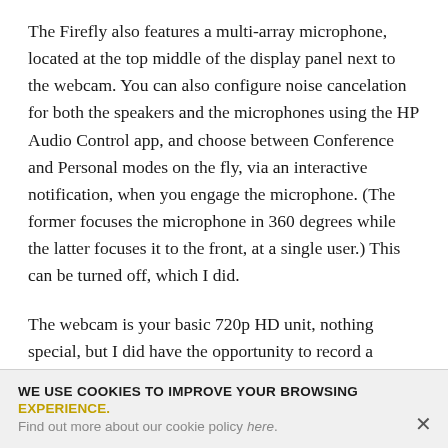The Firefly also features a multi-array microphone, located at the top middle of the display panel next to the webcam. You can also configure noise cancelation for both the speakers and the microphones using the HP Audio Control app, and choose between Conference and Personal modes on the fly, via an interactive notification, when you engage the microphone. (The former focuses the microphone in 360 degrees while the latter focuses it to the front, at a single user.) This can be turned off, which I did.
The webcam is your basic 720p HD unit, nothing special, but I did have the opportunity to record a podcast episode outside while traveling, and for once the picture was crisp and clear instead of muddy.
WE USE COOKIES TO IMPROVE YOUR BROWSING EXPERIENCE. Find out more about our cookie policy here.